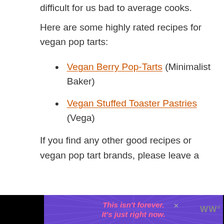difficult for us bad to average cooks.
Here are some highly rated recipes for vegan pop tarts:
Vegan Berry Pop-Tarts (Minimalist Baker)
Vegan Stuffed Toaster Pastries (Vega)
If you find any other good recipes or vegan pop tart brands, please leave a
[Figure (other): Advertisement banner: purple background with radiating stripe pattern, orange/pink italic bold text reading 'This isn't forever. It's just right now.' with a close button and a small logo on the right.]